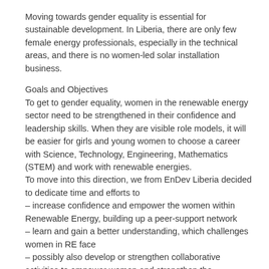Moving towards gender equality is essential for sustainable development. In Liberia, there are only few female energy professionals, especially in the technical areas, and there is no women-led solar installation business.
Goals and Objectives
To get to gender equality, women in the renewable energy sector need to be strengthened in their confidence and leadership skills. When they are visible role models, it will be easier for girls and young women to choose a career with Science, Technology, Engineering, Mathematics (STEM) and work with renewable energies.
To move into this direction, we from EnDev Liberia decided to dedicate time and efforts to
– increase confidence and empower the women within Renewable Energy, building up a peer-support network
– learn and gain a better understanding, which challenges women in RE face
– possibly also develop or strengthen collaborative activities to empower women and strengthen the renewable energy sector.
– experience how online-learning can be brought to an audience with little experience in the internet, exploring this as opportunity for